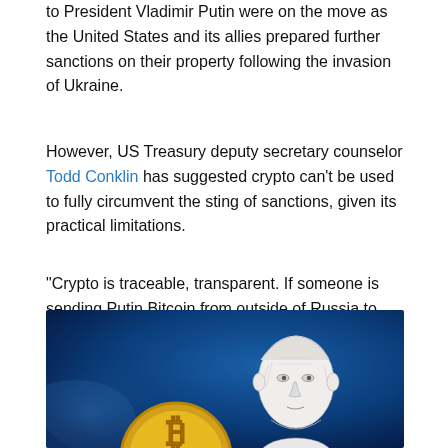to President Vladimir Putin were on the move as the United States and its allies prepared further sanctions on their property following the invasion of Ukraine.
However, US Treasury deputy secretary counselor Todd Conklin has suggested crypto can't be used to fully circumvent the sting of sanctions, given its practical limitations.
"Crypto is traceable, transparent. If someone is sending Putin Bitcoin from outside of Russia to evade US sanctions, then chances are they had to buy that bitcoin at an exchange and that exchange has their name," added Jackson.
[Figure (illustration): Illustration on a blue background showing a sketch-style portrait of Vladimir Putin alongside a large Bitcoin gold coin.]